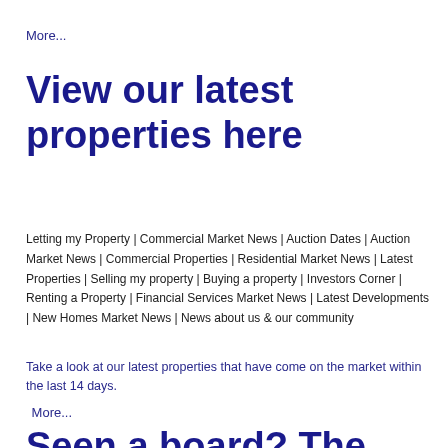More...
View our latest properties here
Letting my Property | Commercial Market News | Auction Dates | Auction Market News | Commercial Properties | Residential Market News | Latest Properties | Selling my property | Buying a property | Investors Corner | Renting a Property | Financial Services Market News | Latest Developments | New Homes Market News | News about us & our community
Take a look at our latest properties that have come on the market within the last 14 days.
More...
Seen a board? The smarter way to search!